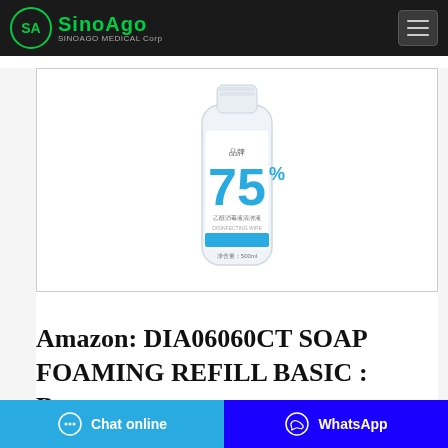SinoAGO SINOAGO MEDICAL Corp
[Figure (photo): A clear plastic bottle with a white label showing '75%' in teal/blue color text, likely a 75% alcohol hand sanitizer or disinfectant product from a Chinese brand. The bottle has a screw cap and shows Chinese text on the label with a teal band near the bottom.]
Amazon: DIA06060CT SOAP FOAMING REFILL BASIC : Beauty ...
Chat online | WhatsApp